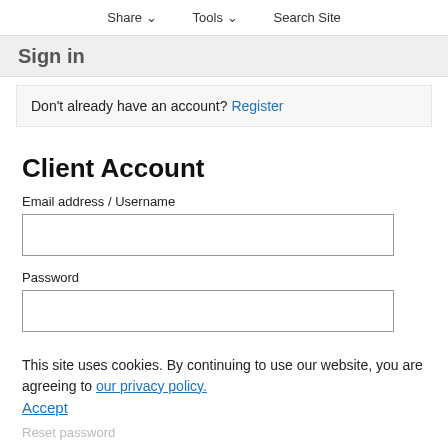Share ∨   Tools ∨   Search Site
Sign in
Don't already have an account? Register
Client Account
Email address / Username
[Figure (screenshot): Empty text input box for email address / username]
Password
[Figure (screenshot): Empty text input box for password]
This site uses cookies. By continuing to use our website, you are agreeing to our privacy policy. Accept
Reset password